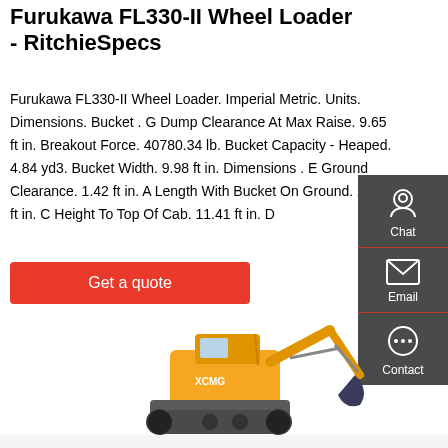Furukawa FL330-II Wheel Loader - RitchieSpecs
Furukawa FL330-II Wheel Loader. Imperial Metric. Units. Dimensions. Bucket . G Dump Clearance At Max Raise. 9.65 ft in. Breakout Force. 40780.34 lb. Bucket Capacity - Heaped. 4.84 yd3. Bucket Width. 9.98 ft in. Dimensions . E Ground Clearance. 1.42 ft in. A Length With Bucket On Ground. 26.81 ft in. C Height To Top Of Cab. 11.41 ft in. D
[Figure (screenshot): Red 'Get a quote' button]
[Figure (screenshot): Dark grey sidebar with Chat, Email, and Contact icons]
[Figure (photo): Yellow excavator/wheel loader machine on white background]